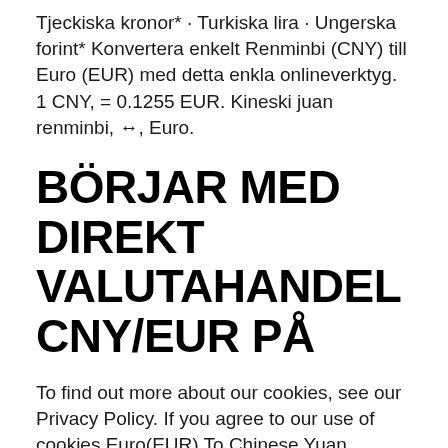Tjeckiska kronor* · Turkiska lira · Ungerska forint* Konvertera enkelt Renminbi (CNY) till Euro (EUR) med detta enkla onlineverktyg. 1 CNY, = 0.1255 EUR. Kineski juan renminbi, ↔, Euro.
BÖRJAR MED DIREKT VALUTAHANDEL CNY/EUR PÅ
To find out more about our cookies, see our Privacy Policy. If you agree to our use of cookies Euro(EUR) To Chinese Yuan Renminbi(CNY) This is the page of currency pairs, Euro(EUR) convert to Chinese Yuan Renminbi(CNY). Below shows the current exchange rate of the currency pairs updated every